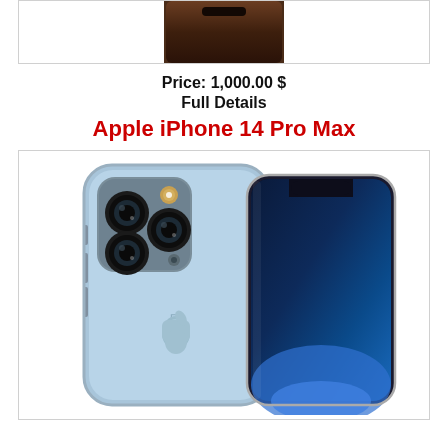[Figure (photo): Top portion of a smartphone (dark brown/black) shown from above, cropped at the top of the page inside a bordered card]
Price: 1,000.00 $
Full Details
Apple iPhone 14 Pro Max
[Figure (photo): Apple iPhone 14 Pro Max shown from two angles: back view in sierra blue with triple camera system and front view showing the display with notch]